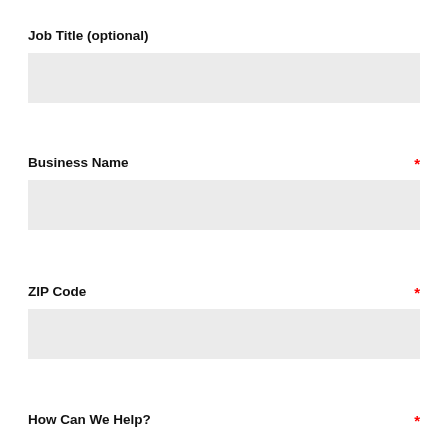Job Title (optional)
[Figure (other): Empty input field for Job Title]
Business Name *
[Figure (other): Empty input field for Business Name]
ZIP Code *
[Figure (other): Empty input field for ZIP Code]
How Can We Help? *